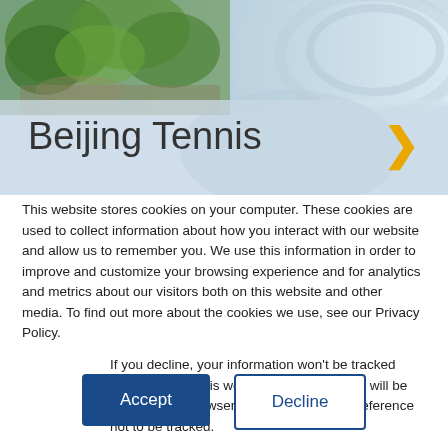[Figure (photo): Banner image showing trees and a blue sky/water background with a semi-transparent overlay. Text 'Beijing Tennis' appears on the banner with a yellow right-arrow chevron.]
This website stores cookies on your computer. These cookies are used to collect information about how you interact with our website and allow us to remember you. We use this information in order to improve and customize your browsing experience and for analytics and metrics about our visitors both on this website and other media. To find out more about the cookies we use, see our Privacy Policy.
If you decline, your information won't be tracked when you visit this website. A single cookie will be used in your browser to remember your preference not to be tracked.
Accept
Decline